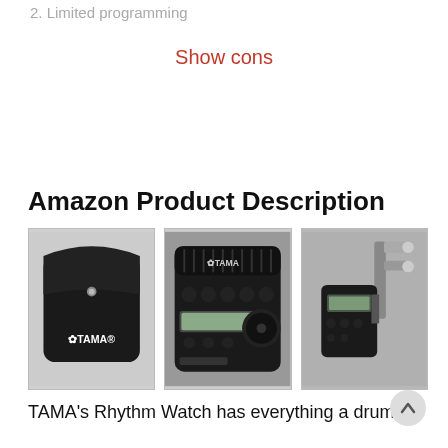2. Limited programming
Show cons
Amazon Product Description
[Figure (photo): Three product photos: a black TAMA carrying pouch, a TAMA Rhythm Watch metronome (top-down view), and the TAMA Rhythm Watch mounted on a drum stand]
TAMA's Rhythm Watch has everything a drumline